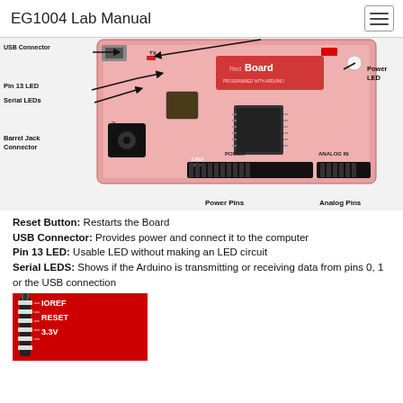EG1004 Lab Manual
[Figure (photo): SparkFun RedBoard Arduino microcontroller with labeled components: USB Connector, Pin 13 LED, Serial LEDs, Barrel Jack Connector, Power LED, Power Pins, Analog Pins]
Reset Button: Restarts the Board
USB Connector: Provides power and connect it to the computer
Pin 13 LED: Usable LED without making an LED circuit
Serial LEDS: Shows if the Arduino is transmitting or receiving data from pins 0, 1 or the USB connection
[Figure (photo): Close-up of Arduino board pins showing IOREF, RESET, and 3.3V labels on red board]